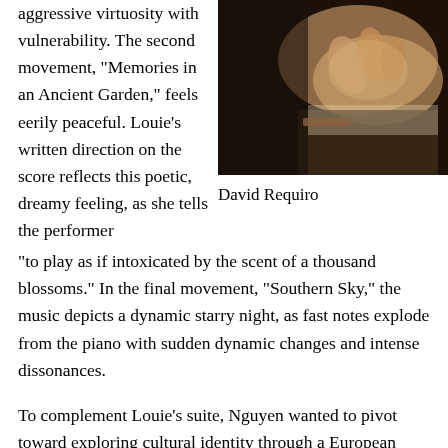aggressive virtuosity with vulnerability. The second movement, "Memories in an Ancient Garden," feels eerily peaceful. Louie's written direction on the score reflects this poetic, dreamy feeling, as she tells the performer “to play as if intoxicated by the scent of a thousand blossoms.” In the final movement, “Southern Sky,” the music depicts a dynamic starry night, as fast notes explode from the piano with sudden dynamic changes and intense dissonances.
[Figure (photo): Close-up photograph of hands, likely a musician, with dark blurred background.]
David Requiro
To complement Louie’s suite, Nguyen wanted to pivot toward exploring cultural identity through a European lens.